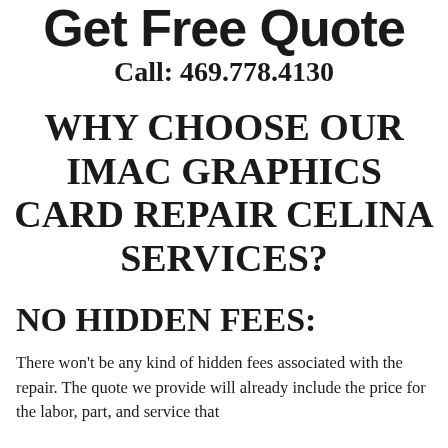Get Free Quote
Call: 469.778.4130
WHY CHOOSE OUR IMAC GRAPHICS CARD REPAIR CELINA SERVICES?
NO HIDDEN FEES:
There won't be any kind of hidden fees associated with the repair. The quote we provide will already include the price for the labor, part, and service that